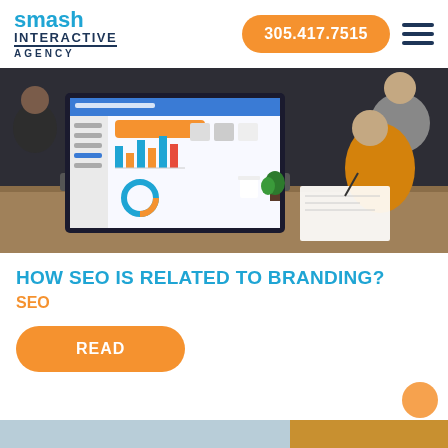smash INTERACTIVE AGENCY | 305.417.7515
[Figure (photo): Business meeting scene with a laptop showing a financial dashboard with bar charts and donut charts, people collaborating around a table with documents and a small plant]
HOW SEO IS RELATED TO BRANDING?
SEO
READ